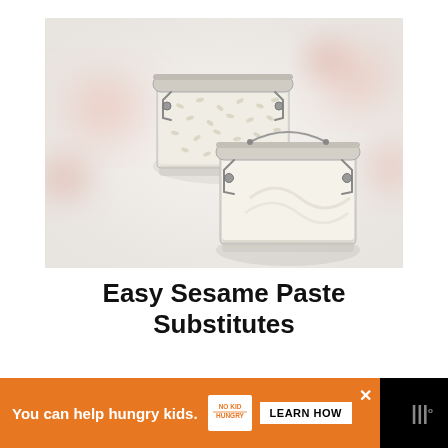[Figure (photo): Two glass clip-top jars on a white surface — one containing sesame seeds and one containing a white creamy paste (tahini/sesame paste), with soft pink floral blurs in the background.]
Easy Sesame Paste Substitutes
[Figure (infographic): Advertisement banner: orange background with text 'You can help hungry kids.' No Kid Hungry logo, 'LEARN HOW' button. Black close X button. Dark right side with stylized 'W' brand mark.]